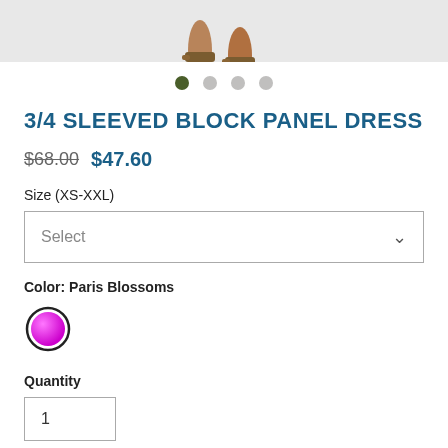[Figure (photo): Partial product photo showing feet/legs of a model wearing sandals against a light grey background, cropped at top of page]
[Figure (other): Four pagination dots: first dot is dark olive/green (active), remaining three are light grey (inactive)]
3/4 SLEEVED BLOCK PANEL DRESS
$68.00  $47.60
Size (XS-XXL)
Select
Color: Paris Blossoms
[Figure (other): A single circular color swatch in magenta/purple with a dark border, representing the Paris Blossoms color option]
Quantity
1